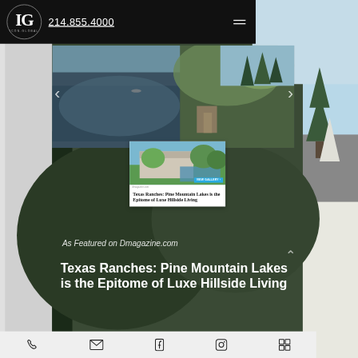ICON GLOBAL | 214.855.4000
[Figure (photo): Aerial view of a lake with trees and a dock/waterfront area]
[Figure (photo): Article card thumbnail showing a luxury property with pool and green lawn. Button: VIEW GALLERY]
Texas Ranches: Pine Mountain Lakes is the Epitome of Luxe Hillside Living
As Featured on Dmagazine.com
Texas Ranches: Pine Mountain Lakes is the Epitome of Luxe Hillside Living | Pine Mountain Lakes
Phone | Email | Facebook | Instagram | Menu